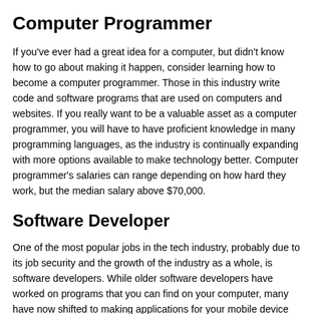Computer Programmer
If you've ever had a great idea for a computer, but didn't know how to go about making it happen, consider learning how to become a computer programmer. Those in this industry write code and software programs that are used on computers and websites. If you really want to be a valuable asset as a computer programmer, you will have to have proficient knowledge in many programming languages, as the industry is continually expanding with more options available to make technology better. Computer programmer's salaries can range depending on how hard they work, but the median salary above $70,000.
Software Developer
One of the most popular jobs in the tech industry, probably due to its job security and the growth of the industry as a whole, is software developers. While older software developers have worked on programs that you can find on your computer, many have now shifted to making applications for your mobile device and tablets. The mobile app industry is booming and continues to grow each day. Take a look at DoubleDutch.me for example, an awesome company, amazing culture, and lots of opportunities! Software developers can work on